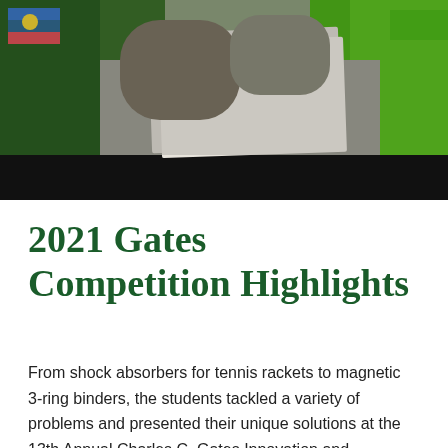[Figure (photo): A photo showing students at a table with papers/binders, a Colorado flag visible on the left, and a bright green background/shirt on the right. A black bar appears at the bottom of the photo.]
2021 Gates Competition Highlights
From shock absorbers for tennis rackets to magnetic 3-ring binders, the students tackled a variety of problems and presented their unique solutions at the 13th Annual Charles C. Gates Innovation and Invention Competition.